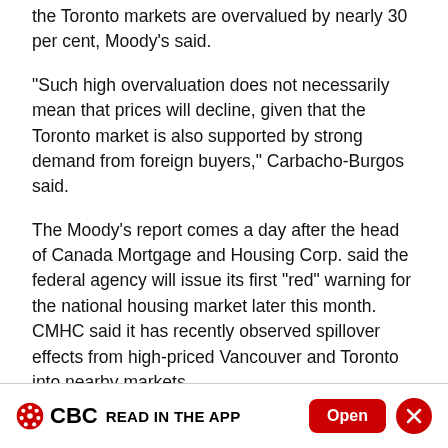the Toronto markets are overvalued by nearly 30 per cent, Moody's said.
"Such high overvaluation does not necessarily mean that prices will decline, given that the Toronto market is also supported by strong demand from foreign buyers," Carbacho-Burgos said.
The Moody's report comes a day after the head of Canada Mortgage and Housing Corp. said the federal agency will issue its first "red" warning for the national housing market later this month. CMHC said it has recently observed spillover effects from high-priced Vancouver and Toronto into nearby markets.
CBC READ IN THE APP  Open